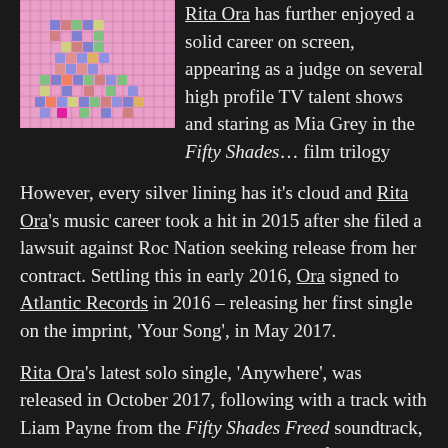[Figure (photo): A pink Scrabble board with tiles spelling out words including GIRLS and RITA, with colorful letter tiles arranged in a crossword pattern.]
Rita Ora has further enjoyed a solid career on screen, appearing as a judge on several high profile TV talent shows and staring as Mia Grey in the Fifty Shades... film trilogy
However, every silver lining has it's cloud and Rita Ora's music career took a hit in 2015 after she filed a lawsuit against Roc Nation seeking release from her contract. Settling this in early 2016, Ora signed to Atlantic Records in 2016 – releasing her first single on the imprint, 'Your Song', in May 2017.
Rita Ora's latest solo single, 'Anywhere', was released in October 2017, following with a track with Liam Payne from the Fifty Shades Freed soundtrack, 'For You', in January 2018. 'For You'. A further collaboration with Cardi...